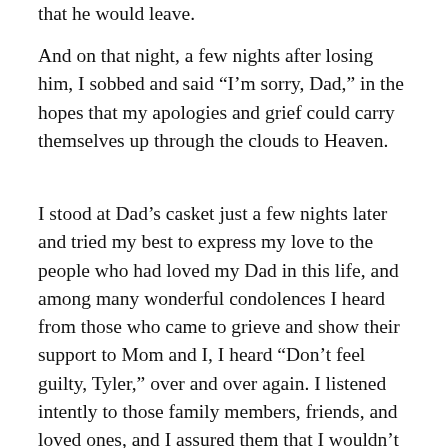that he would leave.
And on that night, a few nights after losing him, I sobbed and said “I’m sorry, Dad,” in the hopes that my apologies and grief could carry themselves up through the clouds to Heaven.
I stood at Dad’s casket just a few nights later and tried my best to express my love to the people who had loved my Dad in this life, and among many wonderful condolences I heard from those who came to grieve and show their support to Mom and I, I heard “Don’t feel guilty, Tyler,” over and over again. I listened intently to those family members, friends, and loved ones, and I assured them that I wouldn’t feel guilty, but I must add the